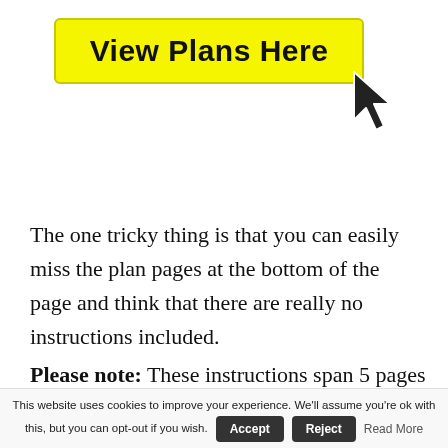[Figure (illustration): Yellow button labeled 'View Plans Here' with a black cursor/pointer arrow overlaid on the right side]
The one tricky thing is that you can easily miss the plan pages at the bottom of the page and think that there are really no instructions included.
Please note: These instructions span 5 pages and you will not need to buy the guide at the
This website uses cookies to improve your experience. We'll assume you're ok with this, but you can opt-out if you wish. Accept Reject Read More